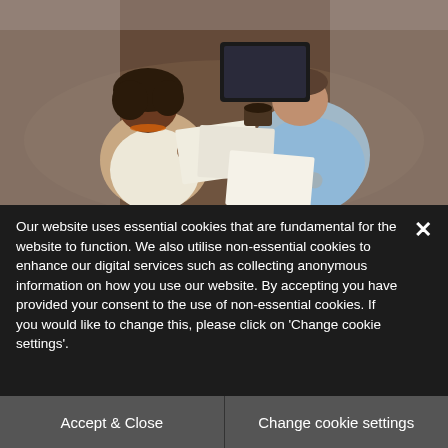[Figure (photo): Overhead/top-down photo of two people (a woman with curly hair and orange necklace, and a man in a light blue shirt) sitting at a wooden table with papers, notebooks, and a laptop, appearing to be collaborating or reviewing documents.]
Our website uses essential cookies that are fundamental for the website to function. We also utilise non-essential cookies to enhance our digital services such as collecting anonymous information on how you use our website. By accepting you have provided your consent to the use of non-essential cookies. If you would like to change this, please click on 'Change cookie settings'.
Accept & Close
Change cookie settings